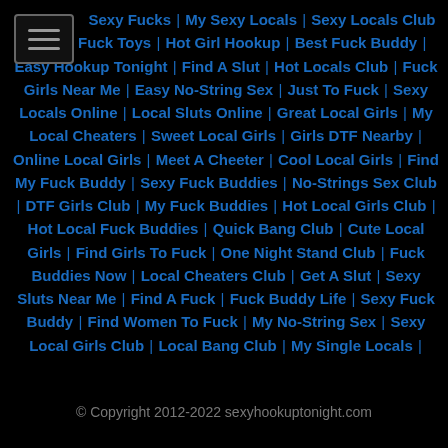[Figure (other): Hamburger menu icon (three horizontal lines in a bordered box)]
Sexy Fucks | My Sexy Locals | Sexy Locals Club | Local Fuck Toys | Hot Girl Hookup | Best Fuck Buddy | Easy Hookup Tonight | Find A Slut | Hot Locals Club | Fuck Girls Near Me | Easy No-String Sex | Just To Fuck | Sexy Locals Online | Local Sluts Online | Great Local Girls | My Local Cheaters | Sweet Local Girls | Girls DTF Nearby | Online Local Girls | Meet A Cheeter | Cool Local Girls | Find My Fuck Buddy | Sexy Fuck Buddies | No-Strings Sex Club | DTF Girls Club | My Fuck Buddies | Hot Local Girls Club | Hot Local Fuck Buddies | Quick Bang Club | Cute Local Girls | Find Girls To Fuck | One Night Stand Club | Fuck Buddies Now | Local Cheaters Club | Get A Slut | Sexy Sluts Near Me | Find A Fuck | Fuck Buddy Life | Sexy Fuck Buddy | Find Women To Fuck | My No-String Sex | Sexy Local Girls Club | Local Bang Club | My Single Locals |
© Copyright 2012-2022 sexyhookuptonight.com